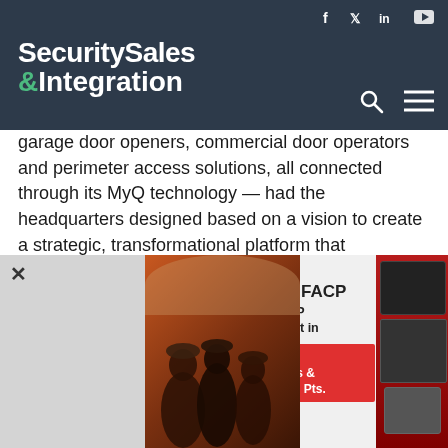Security Sales & Integration
garage door openers, commercial door operators and perimeter access solutions, all connected through its MyQ technology — had the headquarters designed based on a vision to create a strategic, transformational platform that empowers, inspires and springboards its legacy far into to the future.
“Even though this is the Duchossois’ building, TDG was gracious enough to actively involve CGI employees in building the requirements for the new space. CGI’s goal was to have an environment designed to drive
[Figure (infographic): FireLink XL 255 FACP advertisement showing firefighters in background, with text: New! FireLink XL 255 FACP, 255 Pt Addressable FACP with StarLink Cell/IP Built in, Now 2 FireLink FACPs: Conventional up to 32Pts & New XL 255 Addressable Pts.]